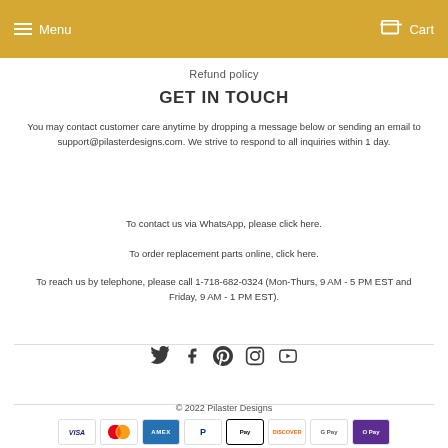Menu  Cart
Refund policy
GET IN TOUCH
You may contact customer care anytime by dropping a message below or sending an email to support@pilasterdesigns.com. We strive to respond to all inquiries within 1 day.
To contact us via WhatsApp, please click here.
To order replacement parts online, click here.
To reach us by telephone, please call 1-718-682-0324 (Mon-Thurs, 9 AM - 5 PM EST and Friday, 9 AM - 1 PM EST).
[Figure (infographic): Social media icons: Twitter, Facebook, Pinterest, Instagram, YouTube]
© 2022 Pilaster Designs
[Figure (infographic): Payment method icons: Visa, Mastercard, American Express, PayPal, Apple Pay, Discover, Google Pay, O Pay]